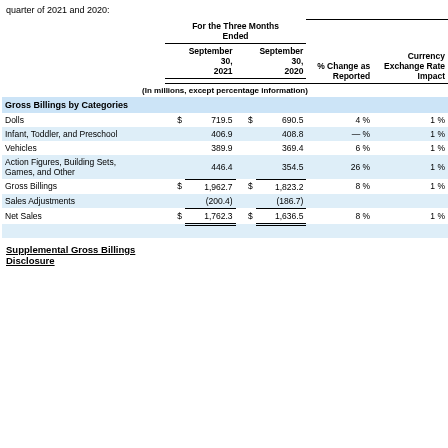quarter of 2021 and 2020:
|  |  | September 30, 2021 |  | September 30, 2020 | % Change as Reported | Currency Exchange Rate Impact |
| --- | --- | --- | --- | --- | --- | --- |
| (In millions, except percentage information) |
| Gross Billings by Categories |
| Dolls | $ | 719.5 | $ | 690.5 | 4 % | 1 % |
| Infant, Toddler, and Preschool |  | 406.9 |  | 408.8 | — % | 1 % |
| Vehicles |  | 389.9 |  | 369.4 | 6 % | 1 % |
| Action Figures, Building Sets, Games, and Other |  | 446.4 |  | 354.5 | 26 % | 1 % |
| Gross Billings | $ | 1,962.7 | $ | 1,823.2 | 8 % | 1 % |
| Sales Adjustments |  | (200.4) |  | (186.7) |  |  |
| Net Sales | $ | 1,762.3 | $ | 1,636.5 | 8 % | 1 % |
Supplemental Gross Billings Disclosure